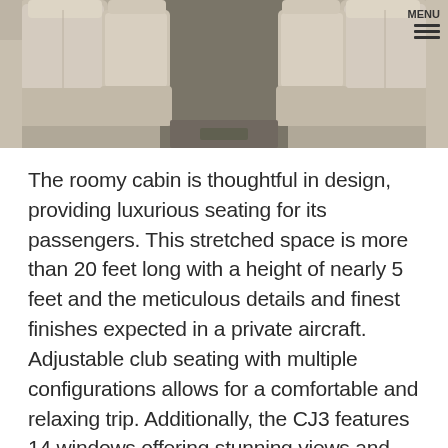[Figure (photo): Interior view of a private jet cabin showing beige/tan leather club seats arranged facing each other on both sides of a center aisle, with gray carpet flooring. A MENU button is visible in the top-right corner.]
The roomy cabin is thoughtful in design, providing luxurious seating for its passengers. This stretched space is more than 20 feet long with a height of nearly 5 feet and the meticulous details and finest finishes expected in a private aircraft. Adjustable club seating with multiple configurations allows for a comfortable and relaxing trip. Additionally, the CJ3 features 14 windows offering stunning views and creating a spacious feeling. Advanced soundproofing provides a relaxing and quiet ambiance for travel, perfect for on the go business meetings. Ample storage space will accommodate baggage, skis, golf clubs and other gear with ease.